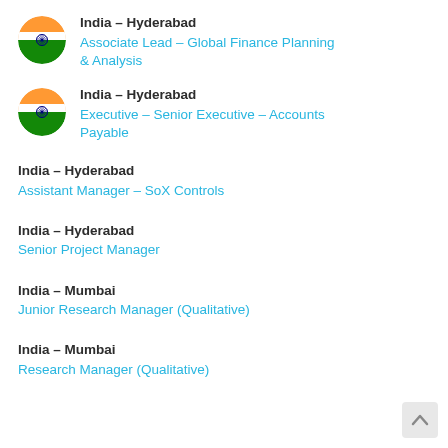India – Hyderabad
Associate Lead – Global Finance Planning & Analysis
India – Hyderabad
Executive – Senior Executive – Accounts Payable
India – Hyderabad
Assistant Manager – SoX Controls
India – Hyderabad
Senior Project Manager
India – Mumbai
Junior Research Manager (Qualitative)
India – Mumbai
Research Manager (Qualitative)